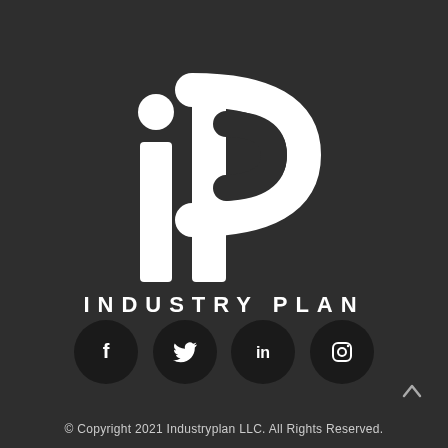[Figure (logo): iP Industry Plan logo — large white stylized letters 'iP' above spaced white capital letters 'INDUSTRY PLAN' on dark background]
[Figure (infographic): Four dark circular social media icon buttons: Facebook (f), Twitter (bird), LinkedIn (in), Instagram (camera)]
© Copyright 2021 Industryplan LLC. All Rights Reserved.